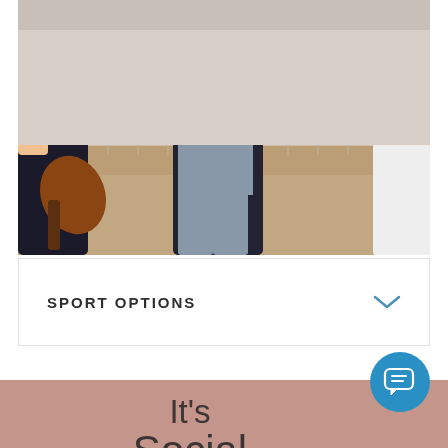[Figure (photo): Pickleball players on an indoor court, showing lower bodies and paddles, net visible in background]
SPORT OPTIONS
It's Social